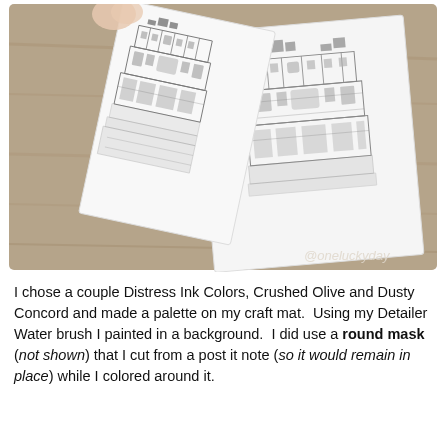[Figure (photo): Two hand-held white cards with detailed pencil/ink drawings of a castle or ornate building facade. One card is being lifted/flipped and shows a partial edge view of the drawing. The other card lies flat and shows the full architectural illustration. Background is a brown wooden surface. Watermark '@oneluckyday' in bottom right corner.]
I chose a couple Distress Ink Colors, Crushed Olive and Dusty Concord and made a palette on my craft mat.  Using my Detailer Water brush I painted in a background.  I did use a round mask (not shown) that I cut from a post it note (so it would remain in place) while I colored around it.